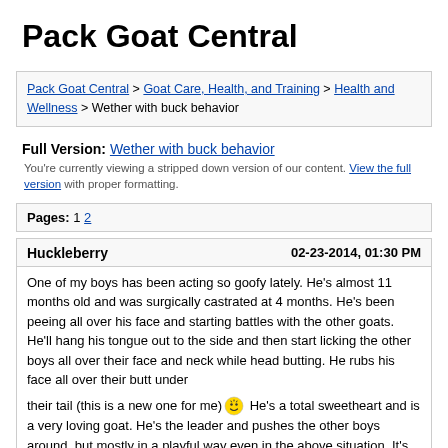Pack Goat Central
Pack Goat Central > Goat Care, Health, and Training > Health and Wellness > Wether with buck behavior
Full Version: Wether with buck behavior
You're currently viewing a stripped down version of our content. View the full version with proper formatting.
Pages: 1 2
Huckleberry    02-23-2014, 01:30 PM
One of my boys has been acting so goofy lately. He's almost 11 months old and was surgically castrated at 4 months. He's been peeing all over his face and starting battles with the other goats. He'll hang his tongue out to the side and then start licking the other boys all over their face and neck while head butting. He rubs his face all over their butt under their tail (this is a new one for me) He's a total sweetheart and is a very loving goat. He's the leader and pushes the other boys around, but mostly in a playful way even in the above situation. It's so funny, I didn't think they acted like this when castrated. Anyone else have a wether that acts like this and do they outgrow it?